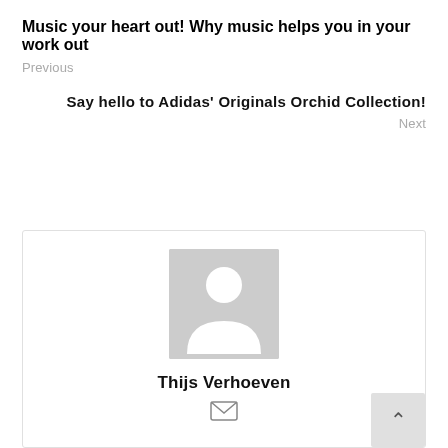Music your heart out! Why music helps you in your work out
Previous
Say hello to Adidas' Originals Orchid Collection!
Next
[Figure (illustration): Author profile card with a grey placeholder avatar silhouette, name 'Thijs Verhoeven', and an email icon below]
Thijs Verhoeven